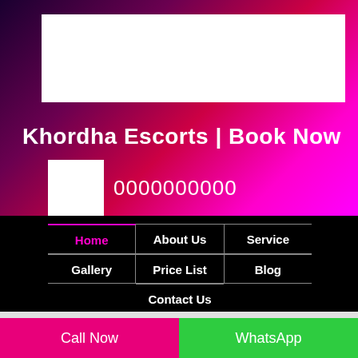[Figure (other): White rectangular banner placeholder at top of page]
Khordha Escorts | Book Now
0000000000
Home
About Us
Service
Gallery
Price List
Blog
Contact Us
Call Now
WhatsApp